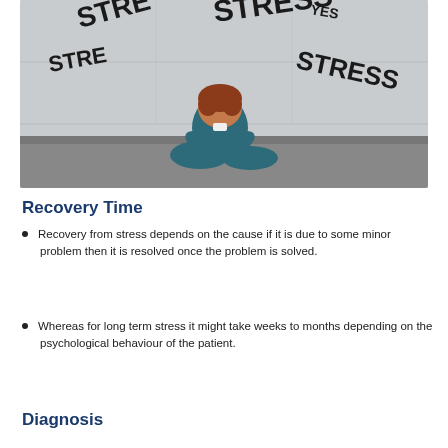[Figure (photo): A man in a blue suit sitting hunched on the ground with his head down, surrounded by the word STRESS written in various sizes and angles on a wall behind him]
Recovery Time
Recovery from stress depends on the cause if it is due to some minor problem then it is resolved once the problem is solved.
Whereas for long term stress it might take weeks to months depending on the psychological behaviour of the patient.
Diagnosis